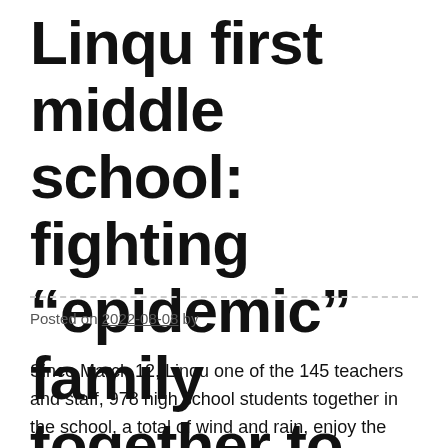Linqu first middle school: fighting “epidemic” family together to the future
Posted on 2022-08-08 by
Since March 12, Linqu one of the 145 teachers and staff, 978 high school students together in the school, a total of wind and rain, enjoy the sunshine, one family, one heart, struggle